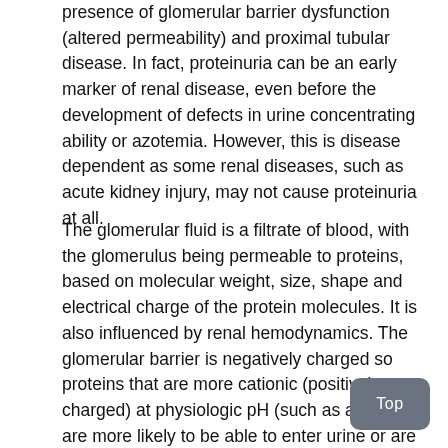presence of glomerular barrier dysfunction (altered permeability) and proximal tubular disease. In fact, proteinuria can be an early marker of renal disease, even before the development of defects in urine concentrating ability or azotemia. However, this is disease dependent as some renal diseases, such as acute kidney injury, may not cause proteinuria at all.
The glomerular fluid is a filtrate of blood, with the glomerulus being permeable to proteins, based on molecular weight, size, shape and electrical charge of the protein molecules. It is also influenced by renal hemodynamics. The glomerular barrier is negatively charged so proteins that are more cationic (positively charged) at physiologic pH (such as albumin) are more likely to be able to enter urine or are more freely filtered than more negatively charged proteins. A major influence of whether proteins will be normally filtered by the glomerulus is the molecular weight of the protein.  The renal threshold is a 68,000 daltons, therefore the glomerular filtrate contains electrolytes (in a similar concentration to plasma) and low